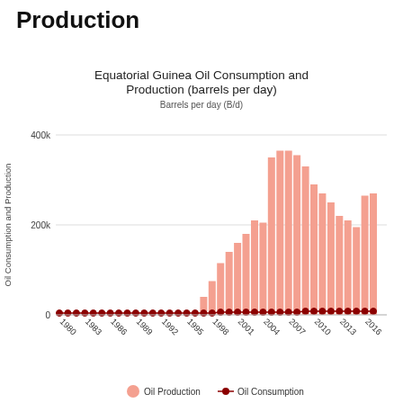Production
[Figure (bar-chart): Equatorial Guinea Oil Consumption and Production (barrels per day)]